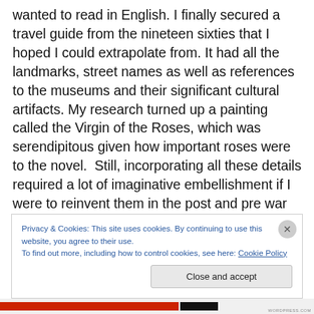wanted to read in English. I finally secured a travel guide from the nineteen sixties that I hoped I could extrapolate from. It had all the landmarks, street names as well as references to the museums and their significant cultural artifacts. My research turned up a painting called the Virgin of the Roses, which was serendipitous given how important roses were to the novel.  Still, incorporating all these details required a lot of imaginative embellishment if I were to reinvent them in the post and pre war period. I still wish I had found out more. I also read up on the kinder transport, the trains that took Jewish children to Britain just
Privacy & Cookies: This site uses cookies. By continuing to use this website, you agree to their use.
To find out more, including how to control cookies, see here: Cookie Policy